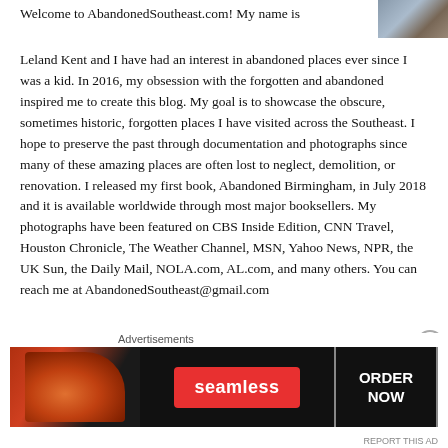[Figure (photo): Small thumbnail photo in top-right corner showing an outdoor scene]
Welcome to AbandonedSoutheast.com! My name is Leland Kent and I have had an interest in abandoned places ever since I was a kid. In 2016, my obsession with the forgotten and abandoned inspired me to create this blog. My goal is to showcase the obscure, sometimes historic, forgotten places I have visited across the Southeast. I hope to preserve the past through documentation and photographs since many of these amazing places are often lost to neglect, demolition, or renovation. I released my first book, Abandoned Birmingham, in July 2018 and it is available worldwide through most major booksellers. My photographs have been featured on CBS Inside Edition, CNN Travel, Houston Chronicle, The Weather Channel, MSN, Yahoo News, NPR, the UK Sun, the Daily Mail, NOLA.com, AL.com, and many others. You can reach me at AbandonedSoutheast@gmail.com
Advertisements
[Figure (photo): Advertisement banner: Seamless food delivery service - pizza image on left, Seamless logo in center, ORDER NOW button on right]